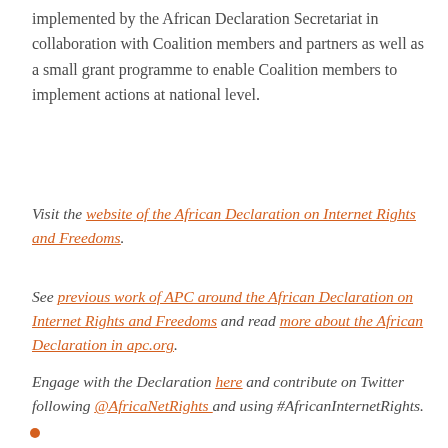implemented by the African Declaration Secretariat in collaboration with Coalition members and partners as well as a small grant programme to enable Coalition members to implement actions at national level.
Visit the website of the African Declaration on Internet Rights and Freedoms.
See previous work of APC around the African Declaration on Internet Rights and Freedoms and read more about the African Declaration in apc.org.
Engage with the Declaration here and contribute on Twitter following @AfricaNetRights and using #AfricanInternetRights.